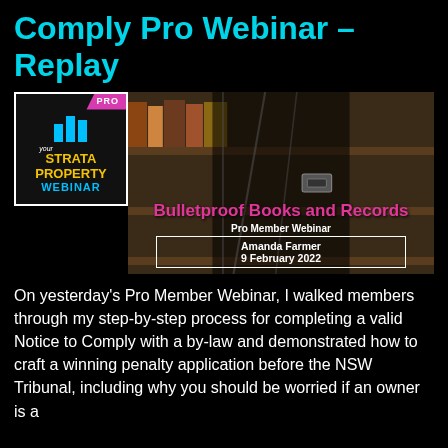Comply Pro Webinar – Replay
[Figure (screenshot): Webinar thumbnail showing 'Your Strata Property Webinar PRO' logo alongside an image of bookshelves with folders, overlaid with text: 'Bulletproof Books and Records', 'Pro Member Webinar', 'Amanda Farmer', '9 February 2022']
On yesterday's Pro Member Webinar, I walked members through my step-by-step process for completing a valid Notice to Comply with a by-law and demonstrated how to craft a winning penalty application before the NSW Tribunal, including why you should be worried if an owner is a…